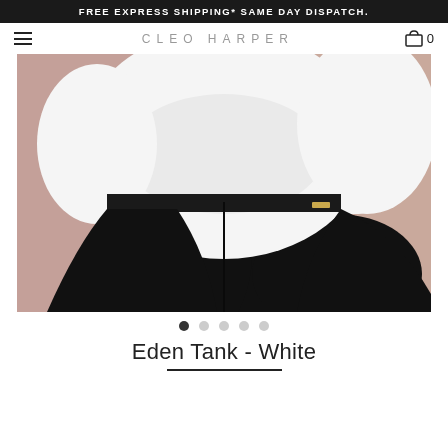FREE EXPRESS SHIPPING* SAME DAY DISPATCH.
CLEO HARPER
[Figure (photo): Back view of a model wearing white top and black leggings with a gold accent detail. Background is pinkish-beige.]
Eden Tank - White